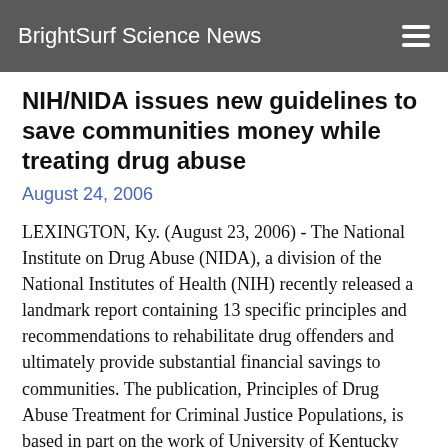BrightSurf Science News
NIH/NIDA issues new guidelines to save communities money while treating drug abuse
August 24, 2006
LEXINGTON, Ky. (August 23, 2006) - The National Institute on Drug Abuse (NIDA), a division of the National Institutes of Health (NIH) recently released a landmark report containing 13 specific principles and recommendations to rehabilitate drug offenders and ultimately provide substantial financial savings to communities. The publication, Principles of Drug Abuse Treatment for Criminal Justice Populations, is based in part on the work of University of Kentucky Researchers Michele Staton-Tindall, Assistant Professor in the Department of Behavioral Science and Center on Drug and Alcohol Research (CDAR) and Carl Leukefeld, Professor of